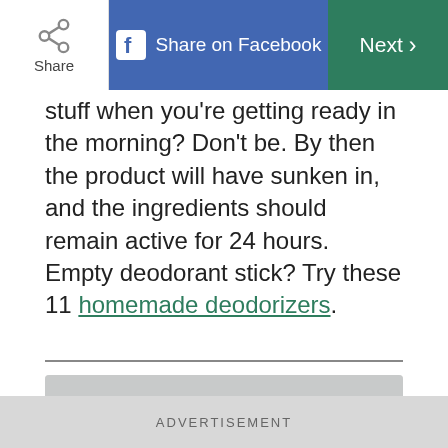Share on Facebook | Next
stuff when you're getting ready in the morning? Don't be. By then the product will have sunken in, and the ingredients should remain active for 24 hours. Empty deodorant stick? Try these 11 homemade deodorizers.
[Figure (photo): Top of a person's head with curly brown hair against a light grey background]
ADVERTISEMENT